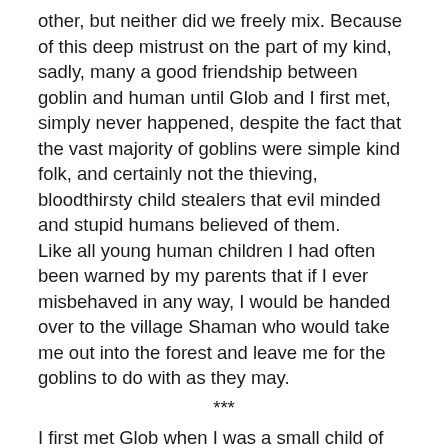other, but neither did we freely mix. Because of this deep mistrust on the part of my kind, sadly, many a good friendship between goblin and human until Glob and I first met, simply never happened, despite the fact that the vast majority of goblins were simple kind folk, and certainly not the thieving, bloodthirsty child stealers that evil minded and stupid humans believed of them.
Like all young human children I had often been warned by my parents that if I ever misbehaved in any way, I would be handed over to the village Shaman who would take me out into the forest and leave me for the goblins to do with as they may.
***
I first met Glob when I was a small child of barely four summers. I was happily playing on my own at the edge of our village beneath the trees that marked our tribe's border